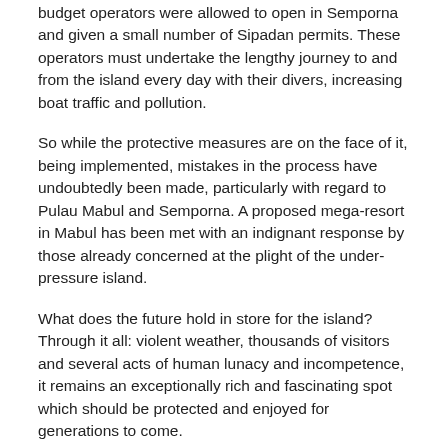budget operators were allowed to open in Semporna and given a small number of Sipadan permits. These operators must undertake the lengthy journey to and from the island every day with their divers, increasing boat traffic and pollution.
So while the protective measures are on the face of it, being implemented, mistakes in the process have undoubtedly been made, particularly with regard to Pulau Mabul and Semporna. A proposed mega-resort in Mabul has been met with an indignant response by those already concerned at the plight of the under-pressure island.
What does the future hold in store for the island? Through it all: violent weather, thousands of visitors and several acts of human lunacy and incompetence, it remains an exceptionally rich and fascinating spot which should be protected and enjoyed for generations to come.
The long term goal is to have Pulau Sipadan recognised as a UNESCO World Heritage Site. This bid, supported by PADI and driven by a number of groups within the Malaysian government and the tourism industry, would guarantee more funding and protection for the island should it succeed. However to date, Sipadan has not yet made it on to the list of proposed World